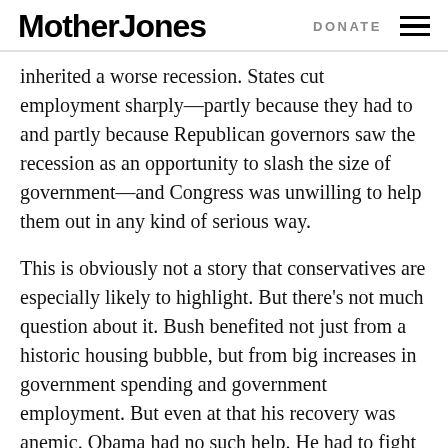Mother Jones  DONATE
inherited a worse recession. States cut employment sharply—partly because they had to and partly because Republican governors saw the recession as an opportunity to slash the size of government—and Congress was unwilling to help them out in any kind of serious way.
This is obviously not a story that conservatives are especially likely to highlight. But there's not much question about it. Bush benefited not just from a historic housing bubble, but from big increases in government spending and government employment. But even at that his recovery was anemic. Obama had no such help. He had to fight not just a historic housing bust, but big drops in both